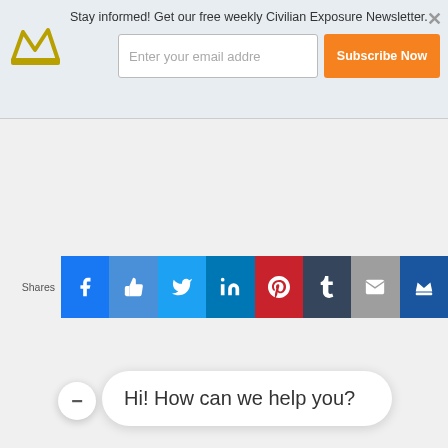Stay informed! Get our free weekly Civilian Exposure Newsletter.
Enter your email addre
Subscribe Now
[Figure (screenshot): Social share buttons bar with Facebook, Like, Twitter, LinkedIn, Pinterest, Tumblr, Email, and Crown icons. Left label says 'Shares'.]
Hi! How can we help you?